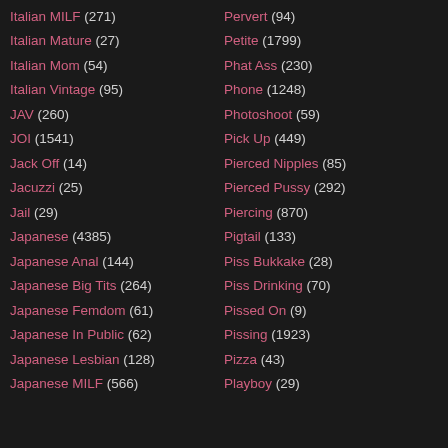Italian MILF (271)
Italian Mature (27)
Italian Mom (54)
Italian Vintage (95)
JAV (260)
JOI (1541)
Jack Off (14)
Jacuzzi (25)
Jail (29)
Japanese (4385)
Japanese Anal (144)
Japanese Big Tits (264)
Japanese Femdom (61)
Japanese In Public (62)
Japanese Lesbian (128)
Japanese MILF (566)
Pervert (94)
Petite (1799)
Phat Ass (230)
Phone (1248)
Photoshoot (59)
Pick Up (449)
Pierced Nipples (85)
Pierced Pussy (292)
Piercing (870)
Pigtail (133)
Piss Bukkake (28)
Piss Drinking (70)
Pissed On (9)
Pissing (1923)
Pizza (43)
Playboy (29)